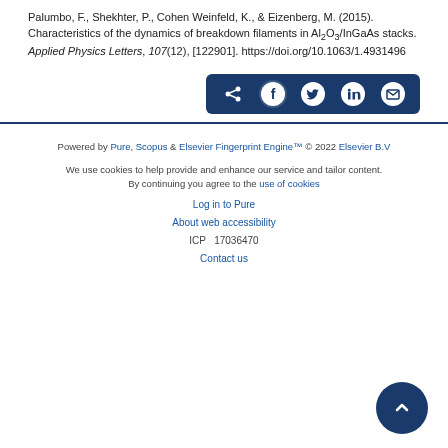Palumbo, F., Shekhter, P., Cohen Weinfeld, K., & Eizenberg, M. (2015). Characteristics of the dynamics of breakdown filaments in Al₂O₃/InGaAs stacks. Applied Physics Letters, 107(12), [122901]. https://doi.org/10.1063/1.4931496
[Figure (other): Social share buttons row: share icon, Facebook, Twitter, LinkedIn, Email on dark blue background]
Powered by Pure, Scopus & Elsevier Fingerprint Engine™ © 2022 Elsevier B.V
We use cookies to help provide and enhance our service and tailor content. By continuing you agree to the use of cookies
Log in to Pure
About web accessibility
ICP  17036470
Contact us